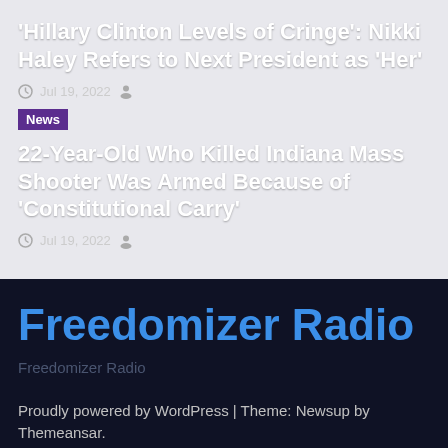‘Hillary Clinton Levels of Cringe’: Nikki Haley Refers to Next President as ‘Her’
Jul 19, 2022
News
22-Year-Old Who Killed Indiana Mass Shooter Was Armed Because of ‘Constitutional Carry’
Jul 19, 2022
Freedomizer Radio
Freedomizer Radio
Proudly powered by WordPress | Theme: Newsup by Themeansar.